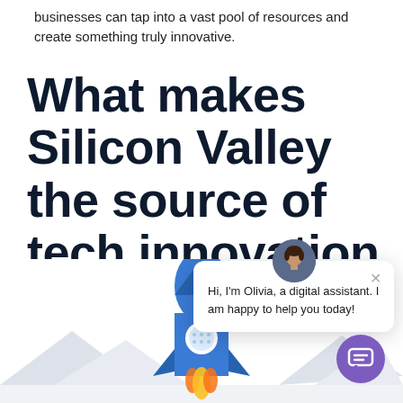businesses can tap into a vast pool of resources and create something truly innovative.
What makes Silicon Valley the source of tech innovation for corporates?
[Figure (screenshot): Chat widget overlay showing avatar of a woman (Olivia), a close button (×), and text: Hi, I'm Olivia, a digital assistant. I am happy to help you today!]
[Figure (illustration): Bottom section showing a blue rocket ship with white circular window, launching upward, with grey mountain silhouettes on either side, on a white background. A purple circular chat button appears bottom-right.]